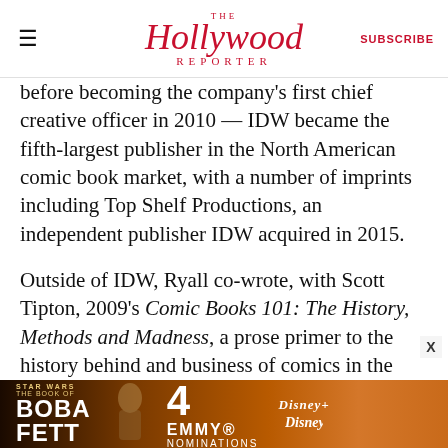THE Hollywood Reporter | SUBSCRIBE
before becoming the company’s first chief creative officer in 2010 — IDW became the fifth-largest publisher in the North American comic book market, with a number of imprints including Top Shelf Productions, an independent publisher IDW acquired in 2015.
Outside of IDW, Ryall co-wrote, with Scott Tipton, 2009’s Comic Books 101: The History, Methods and Madness, a prose primer to the history behind and business of comics in the North American market, which also featured contributions from Stan Lee, Harlan Ellison and New Teen Titans co-creator Mar
[Figure (infographic): Star Wars: The Book of Boba Fett advertisement banner with text '4 EMMY NOMINATIONS' and Disney+ logo]